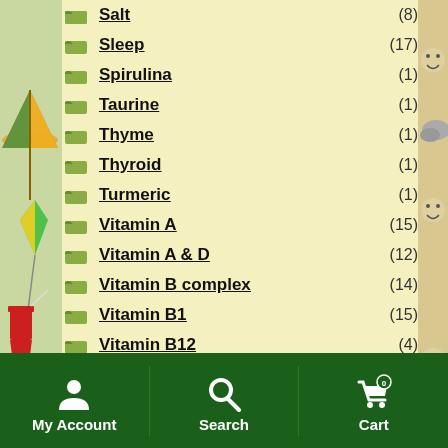Salt (8)
Sleep (17)
Spirulina (1)
Taurine (1)
Thyme (1)
Thyroid (1)
Turmeric (1)
Vitamin A (15)
Vitamin A & D (12)
Vitamin B complex (14)
Vitamin B1 (15)
Vitamin B12 (4)
Vitamin B5 (4)
My Account  Search  Cart